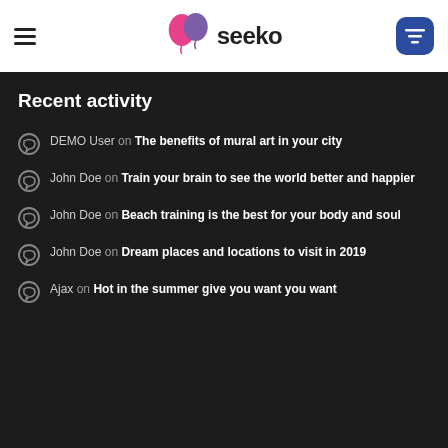seeko
Recent activity
DEMO User on The benefits of mural art in your city
John Doe on Train your brain to see the world better and happier
John Doe on Beach training is the best for your body and soul
John Doe on Dream places and locations to visit in 2019
Ajax on Hot in the summer give you want you want